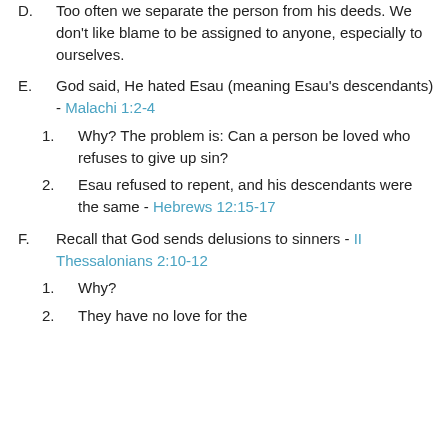D. Too often we separate the person from his deeds. We don't like blame to be assigned to anyone, especially to ourselves.
E. God said, He hated Esau (meaning Esau's descendants) - Malachi 1:2-4
1. Why? The problem is: Can a person be loved who refuses to give up sin?
2. Esau refused to repent, and his descendants were the same - Hebrews 12:15-17
F. Recall that God sends delusions to sinners - II Thessalonians 2:10-12
1. Why?
2. They have no love for the